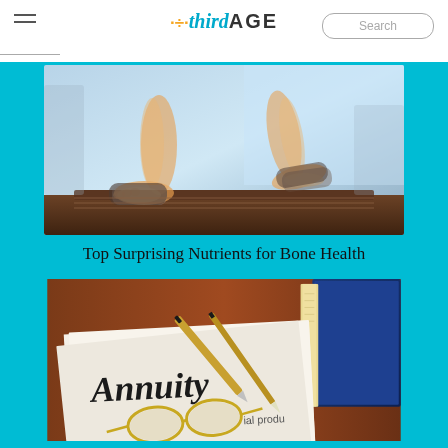thirdAGE — Search bar and hamburger menu
[Figure (photo): X-ray/transparent view of feet and lower legs walking on a treadmill, highlighting bones]
Top Surprising Nutrients for Bone Health
[Figure (photo): Photo of a document with the word 'Annuity' on it, with reading glasses and a pen on top, and a book in the background]